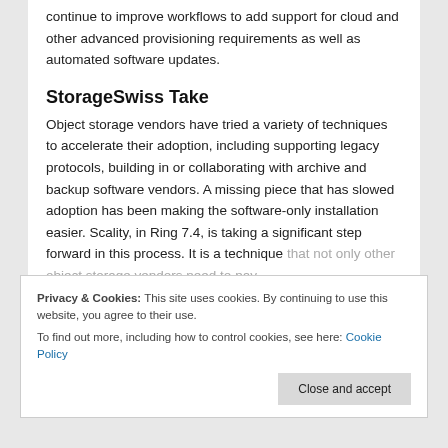continue to improve workflows to add support for cloud and other advanced provisioning requirements as well as automated software updates.
StorageSwiss Take
Object storage vendors have tried a variety of techniques to accelerate their adoption, including supporting legacy protocols, building in or collaborating with archive and backup software vendors. A missing piece that has slowed adoption has been making the software-only installation easier. Scality, in Ring 7.4, is taking a significant step forward in this process. It is a technique that not only other object storage vendors need to pay...
Privacy & Cookies: This site uses cookies. By continuing to use this website, you agree to their use.
To find out more, including how to control cookies, see here: Cookie Policy
Close and accept